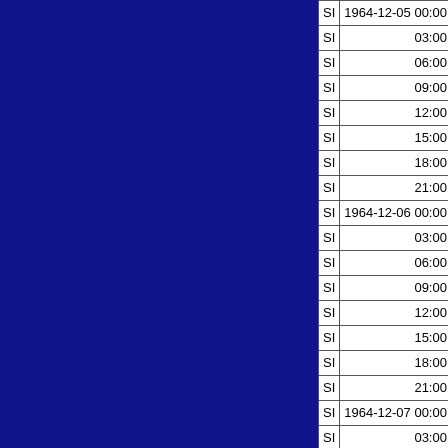|  |  |  |  |
| --- | --- | --- | --- |
| SI | 1964-12-05 00:00:00 | TS | -13.8 |
| SI | 03:00:00 | TS | -14.1 |
| SI | 06:00:00 | TS | -14.5 |
| SI | 09:00:00 | TS | -15.0 |
| SI | 12:00:00 | TS | -15.6 |
| SI | 15:00:00 | TS | -16.2 |
| SI | 18:00:00 | TS | -16.6 |
| SI | 21:00:00 | TS | -17.1 |
| SI | 1964-12-06 00:00:00 | TS | -17.6 |
| SI | 03:00:00 | TS | -18.2 |
| SI | 06:00:00 | TS | -18.7 |
| SI | 09:00:00 | TS | -19.1 |
| SI | 12:00:00 | TS | -19.4 |
| SI | 15:00:00 | TS | -19.8 |
| SI | 18:00:00 | TS | -20.2 |
| SI | 21:00:00 | TS | -20.5 |
| SI | 1964-12-07 00:00:00 | TS | -20.9 |
| SI | 03:00:00 | TS | -21.4 |
| SI | 06:00:00 | TS | -21.9 |
| SI | 09:00:00 | TS | -22.3 |